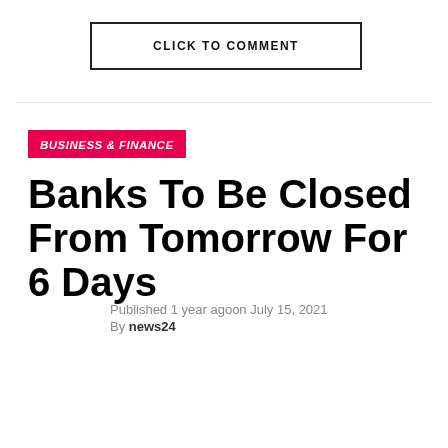CLICK TO COMMENT
BUSINESS & FINANCE
Banks To Be Closed From Tomorrow For 6 Days
Published 1 year agoon July 15, 2021
By news24